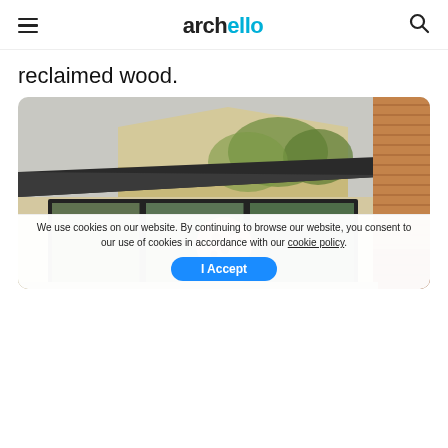archello
reclaimed wood.
[Figure (photo): Exterior photo of a mid-century modern house with dark-framed large windows, a flat/angled roof with dark fascia, beige stucco walls, and a wood slat privacy wall on the right. Trees visible in background.]
We use cookies on our website. By continuing to browse our website, you consent to our use of cookies in accordance with our cookie policy.
I Accept